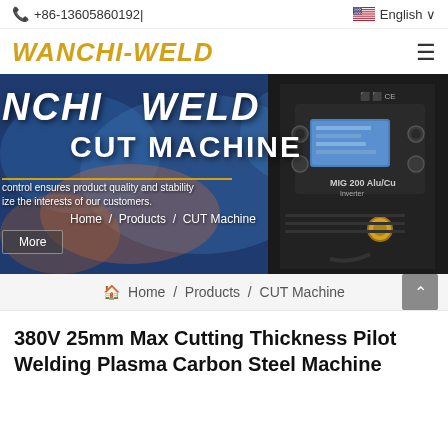+86-13605860192| English
[Figure (logo): WANCHI-WELD logo in gold italic bold text with hamburger menu icon]
[Figure (photo): Banner image showing WANCHI WELD CUT MACHINE text overlay on industrial welding background with a MIG 200 Alu/Cu welding machine on the right. Text includes: quality and stability, interests of our customers, Home / Products / CUT Machine, More button]
Home / Products / CUT Machine
380V 25mm Max Cutting Thickness Pilot Welding Plasma Carbon Steel Machine